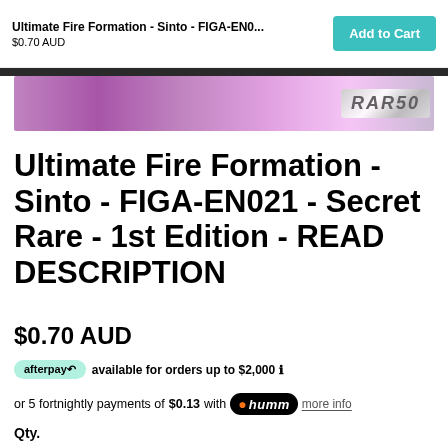Ultimate Fire Formation - Sinto - FIGA-EN0...
$0.70 AUD
[Figure (photo): Cropped image of a trading card showing a blurred purple/pink card with 'RARE' badge visible on the right side]
Ultimate Fire Formation - Sinto - FIGA-EN021 - Secret Rare - 1st Edition - READ DESCRIPTION
$0.70 AUD
afterpay available for orders up to $2,000 ℹ
or 5 fortnightly payments of $0.13 with humm more info
Qty.